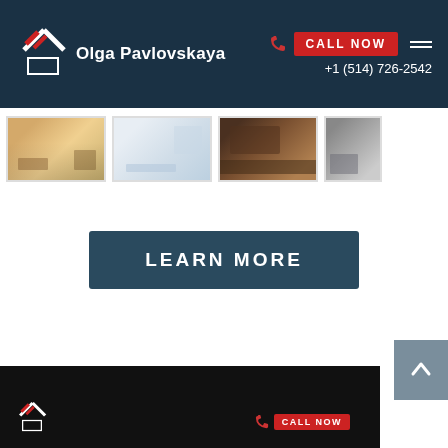Olga Pavlovskaya | CALL NOW | +1 (514) 726-2542
[Figure (photo): Four thumbnail images of interior rooms arranged in a horizontal strip]
[Figure (screenshot): A dark teal button with the text LEARN MORE in white bold capital letters]
[Figure (screenshot): Scroll-to-top button with upward arrow, grey background]
[Figure (screenshot): Bottom dark footer section partially visible with logo and phone icon repetition]